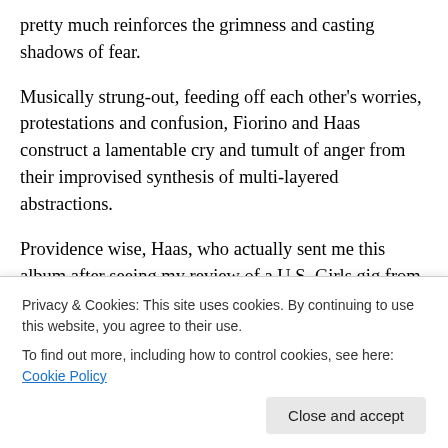pretty much reinforces the grimness and casting shadows of fear.
Musically strung-out, feeding off each other's worries, protestations and confusion, Fiorino and Haas construct a lamentable cry and tumult of anger from their improvised synthesis of multi-layered abstractions.
Providence wise, Haas, who actually sent me this album after seeing my review of a U.S. Girls gig from earlier in the year (he was kind enough to note my brief mention of
Privacy & Cookies: This site uses cookies. By continuing to use this website, you agree to their use.
To find out more, including how to control cookies, see here: Cookie Policy
between Jon Hassell and Eno's Possible Musics